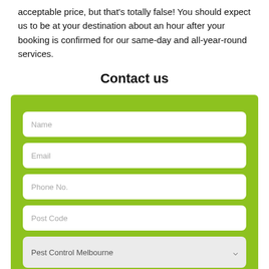acceptable price, but that's totally false! You should expect us to be at your destination about an hour after your booking is confirmed for our same-day and all-year-round services.
Contact us
[Figure (other): A contact form on a green background with fields: Name, Email, Phone No., Post Code, Pest Control Melbourne (dropdown), and Message (textarea).]